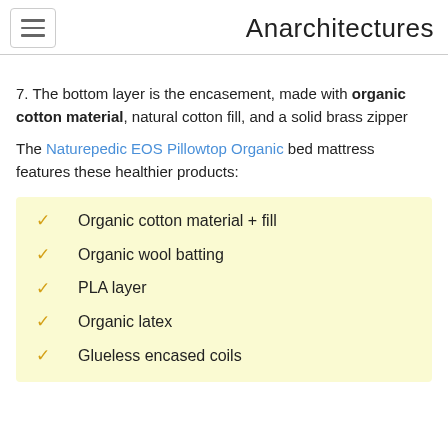Anarchitectures
7. The bottom layer is the encasement, made with organic cotton material, natural cotton fill, and a solid brass zipper
The Naturepedic EOS Pillowtop Organic bed mattress features these healthier products:
Organic cotton material + fill
Organic wool batting
PLA layer
Organic latex
Glueless encased coils